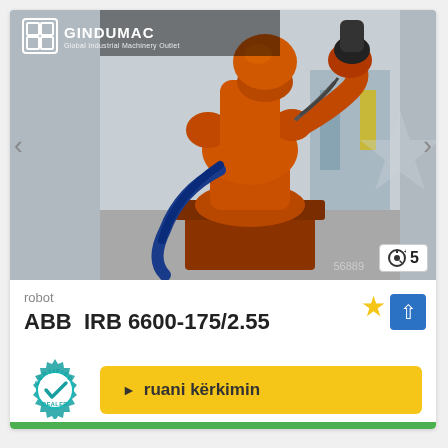[Figure (photo): Industrial orange ABB robot arm (IRB 6600-175/2.55) in a factory/warehouse setting, photographed from below-side angle. The robot has blue hose/cable attached. GINDUMAC logo visible top-left of image. Navigation arrows on sides. Photo count badge showing 5 images.]
robot
ABB  IRB 6600-175/2.55
[Figure (logo): CERTIFIED DEALER badge/seal in teal/cyan color with checkmark]
ruani kërkimin